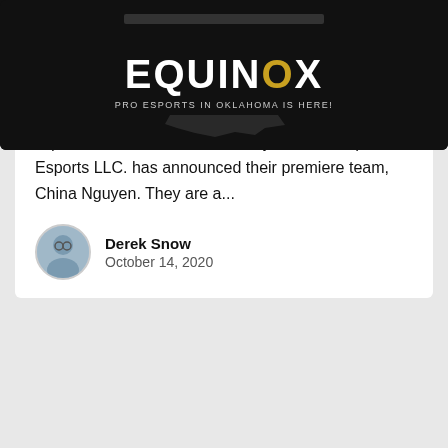SOONER ESPORTS
China Nguyen fans as they are announced to be Equinox's first team. The recently unveiled Equinox Esports LLC. has announced their premiere team, China Nguyen. They are a...
Derek Snow
October 14, 2020
[Figure (logo): Equinox Esports logo on black background with text 'PRO ESPORTS IN OKLAHOMA IS HERE!']